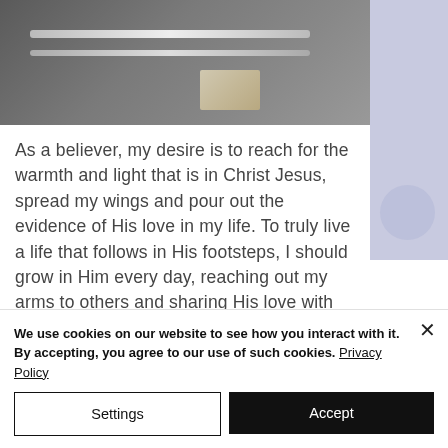[Figure (photo): Partial photo of what appears to be a chrome/metal rail or track on a dark surface, with a wooden element visible. Right side shows a light purple/blue panel.]
As a believer, my desire is to reach for the warmth and light that is in Christ Jesus, spread my wings and pour out the evidence of His love in my life. To truly live a life that follows in His footsteps, I should grow in Him every day, reaching out my arms to others and sharing His love with them.
We use cookies on our website to see how you interact with it. By accepting, you agree to our use of such cookies. Privacy Policy
Settings
Accept